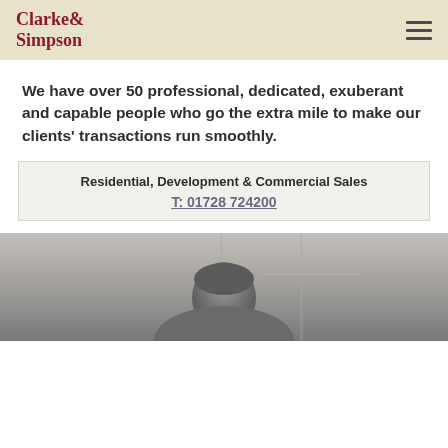Clarke Simpson
We have over 50 professional, dedicated, exuberant and capable people who go the extra mile to make our clients' transactions run smoothly.
Residential, Development & Commercial Sales
T: 01728 724200
[Figure (photo): Grayscale photograph of a person, partially visible from the shoulders up, with a blurred office background.]